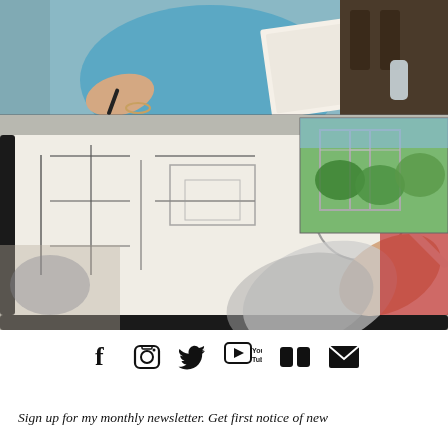[Figure (photo): Two photos: top photo shows a woman in a blue shirt holding a pen and drawing/writing in a sketchbook while seated outdoors. Bottom photo shows a close-up of a hand holding a pen/marker drawing sketches in a sketchbook with an inset image of an outdoor garden/greenhouse scene.]
[Figure (infographic): Row of 6 social media icons: Facebook (f), Instagram (camera), Twitter (bird), YouTube (play button with 'Tube' label), Flickr (two squares), Email (envelope)]
Sign up for my monthly newsletter. Get first notice of new